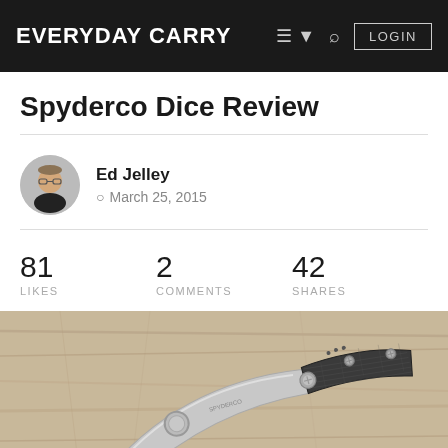EVERYDAY CARRY  LOGIN
Spyderco Dice Review
Ed Jelley
March 25, 2015
81 LIKES  2 COMMENTS  42 SHARES
[Figure (photo): Close-up photo of a Spyderco folding knife with carbon fiber handle and silver blade, resting on a wooden surface.]